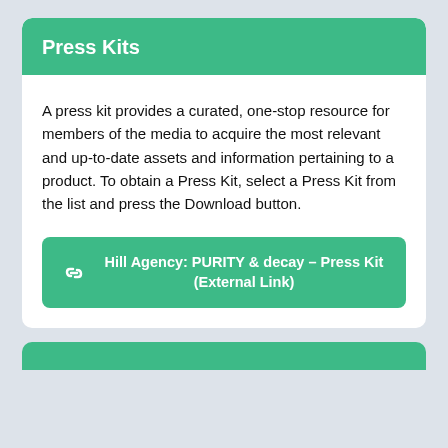Press Kits
A press kit provides a curated, one-stop resource for members of the media to acquire the most relevant and up-to-date assets and information pertaining to a product. To obtain a Press Kit, select a Press Kit from the list and press the Download button.
Hill Agency: PURITY & decay – Press Kit (External Link)